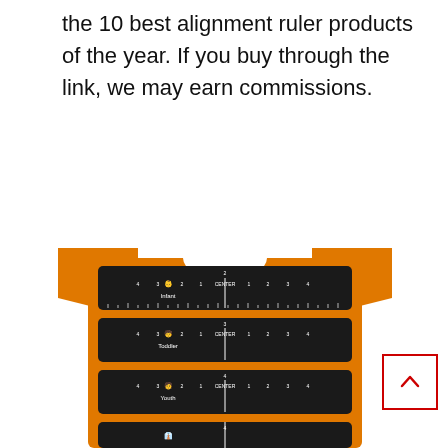the 10 best alignment ruler products of the year. If you buy through the link, we may earn commissions.
[Figure (photo): An orange t-shirt with multiple black alignment ruler guides overlaid on the front, labeled for different sizes: Infant, Toddler, Youth, and a fourth partially visible at the bottom. Each ruler has CENTER marked and measurement markings in inches on both sides.]